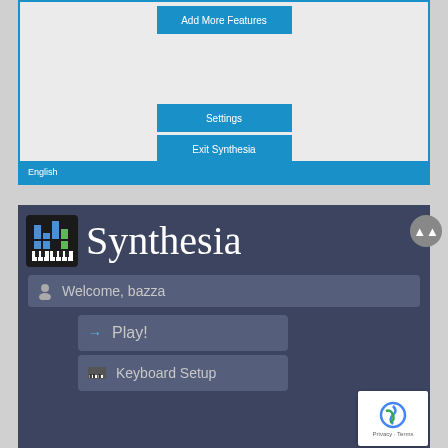[Figure (screenshot): Synthesia application window showing 'Add More Features', 'Settings', and 'Exit Synthesia' buttons on a light gray background, with an 'English' language bar at the bottom in blue.]
[Figure (screenshot): Synthesia application main screen with logo and title 'Synthesia', a 'Welcome, bazza' user bar, and menu buttons including 'Play!' and 'Keyboard Setup' on a dark blue-gray background. A reCAPTCHA overlay is visible in the bottom right.]